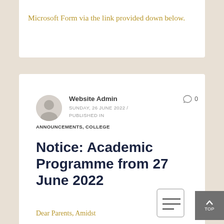Microsoft Form via the link provided down below.
Website Admin
SUNDAY, 26 JUNE 2022 / PUBLISHED IN ANNOUNCEMENTS, COLLEGE
Notice: Academic Programme from 27 June 2022
Dear Parents, Amidst